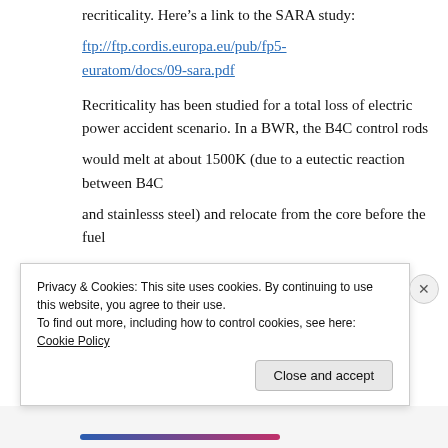recriticality. Here's a link to the SARA study:
ftp://ftp.cordis.europa.eu/pub/fp5-euratom/docs/09-sara.pdf
Recriticality has been studied for a total loss of electric power accident scenario. In a BWR, the B4C control rods would melt at about 1500K (due to a eutectic reaction between B4C and stainlesss steel) and relocate from the core before the fuel
Privacy & Cookies: This site uses cookies. By continuing to use this website, you agree to their use.
To find out more, including how to control cookies, see here: Cookie Policy